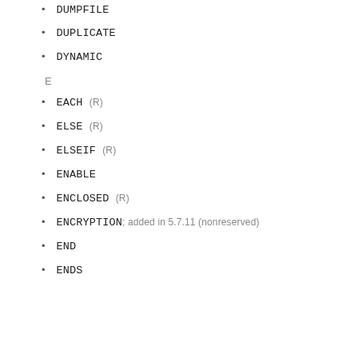DUMPFILE
DUPLICATE
DYNAMIC
E
EACH (R)
ELSE (R)
ELSEIF (R)
ENABLE
ENCLOSED (R)
ENCRYPTION; added in 5.7.11 (nonreserved)
END
ENDS